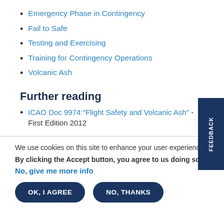Emergency Phase in Contingency
Fail to Safe
Testing and Exercising
Training for Contingency Operations
Volcanic Ash
Further reading
ICAO Doc 9974:"Flight Safety and Volcanic Ash" - First Edition 2012
We use cookies on this site to enhance your user experience
By clicking the Accept button, you agree to us doing so.
No, give me more info